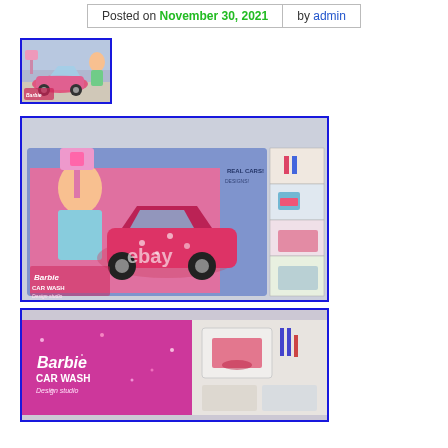Posted on November 30, 2021 by admin
[Figure (photo): Small thumbnail image of Barbie Car Wash Design Studio toy box with blue border]
[Figure (photo): Large photo of Barbie Car Wash Design Studio toy box showing pink convertible car, a girl, and product features panel. eBay watermark visible.]
[Figure (photo): Partial photo showing close-up of Barbie Car Wash Design Studio box top edge with pink glitter background and product logo]